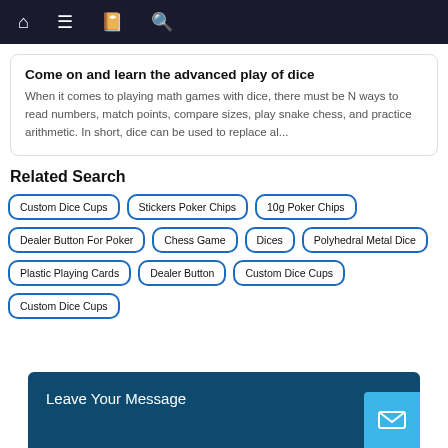Navigation bar with home, menu, book, and search icons
Come on and learn the advanced play of dice
When it comes to playing math games with dice, there must be N ways to read numbers, match points, compare sizes, play snake chess, and practice arithmetic. In short, dice can be used to replace al...
Related Search
Custom Dice Cups
Stickers Poker Chips
10g Poker Chips
Dealer Button For Poker
Chess Game
Dices
Polyhedral Metal Dice
Plastic Playing Cards
Dealer Button
Custom Dice Cups
Custom Dice Cups
Leave Your Message